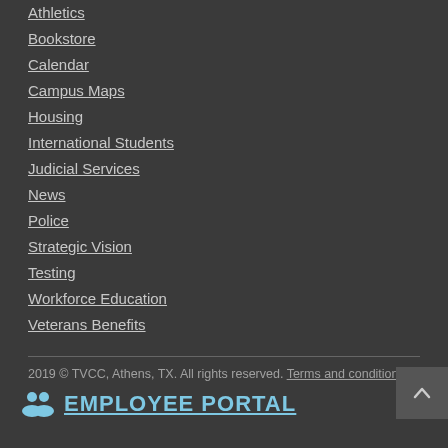Athletics
Bookstore
Calendar
Campus Maps
Housing
International Students
Judicial Services
News
Police
Strategic Vision
Testing
Workforce Education
Veterans Benefits
2019 © TVCC, Athens, TX. All rights reserved. Terms and conditions
EMPLOYEE PORTAL